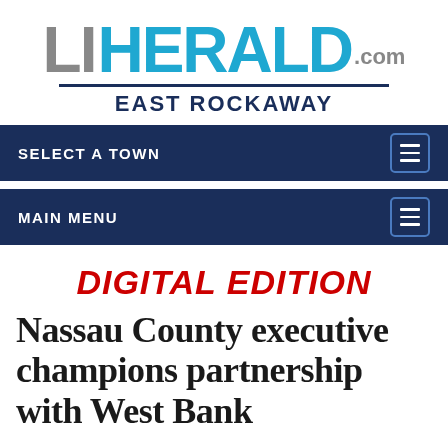[Figure (logo): LI Herald .com logo with 'EAST ROCKAWAY' subtitle]
SELECT A TOWN
MAIN MENU
DIGITAL EDITION
Nassau County executive champions partnership with West Bank